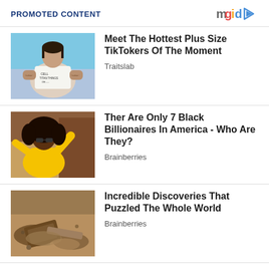PROMOTED CONTENT | mgid
[Figure (photo): Plus size woman in white t-shirt on runway/stage]
Meet The Hottest Plus Size TikTokers Of The Moment
Traitslab
[Figure (photo): Woman in yellow dress outdoors, smiling and pointing]
Ther Are Only 7 Black Billionaires In America - Who Are They?
Brainberries
[Figure (photo): Archaeological discovery in dirt/sand - objects buried]
Incredible Discoveries That Puzzled The Whole World
Brainberries
Isaiah 57